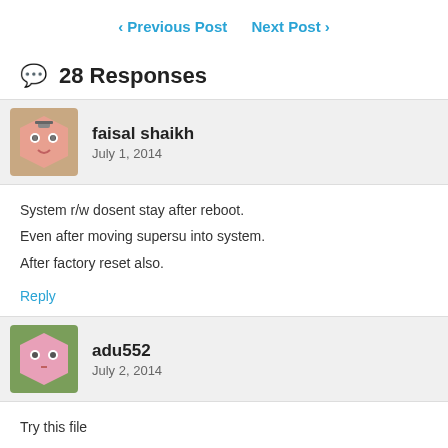< Previous Post   Next Post >
💬 28 Responses
faisal shaikh
July 1, 2014
System r/w dosent stay after reboot.
Even after moving supersu into system.
After factory reset also.
Reply
adu552
July 2, 2014
Try this file
http://www.mediafire.com/download/552qr41qb2fwuj6/Z1+Root.rar
Gives root and cwm. Tested on z1 c6902 with 108 firmware